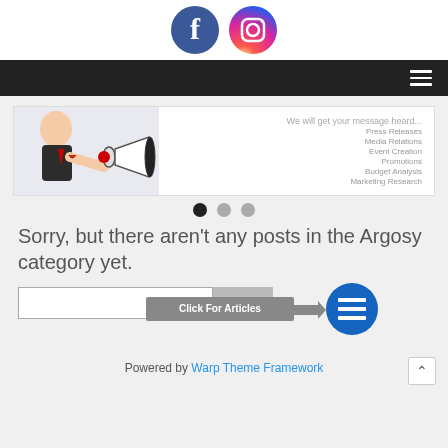[Figure (illustration): Social media icons for Facebook and Instagram at top of page]
[Figure (screenshot): Dark navigation bar with hamburger menu icon on right]
[Figure (photo): Slideshow banner showing man shouting into megaphone with text: We will get your message heard... Press Releases, Media Relations, Event Creation, Promotions, Budget Analysis, Marketing Research]
[Figure (illustration): Slideshow navigation dots: one filled black (active), two gray]
Sorry, but there aren't any posts in the Argosy category yet.
[Figure (screenshot): Search input box with Search button, Click For Articles callout with arrow and blue circle icon button]
Powered by Warp Theme Framework